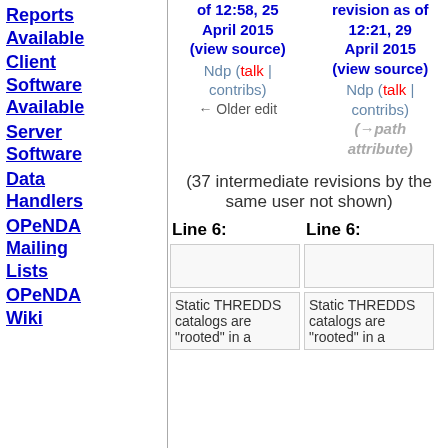Reports Available
Client Software Available
Server Software
Data Handlers
OPeNDA Mailing Lists
OPeNDA Wiki
of 12:58, 25 April 2015 (view source) Ndp (talk | contribs) ← Older edit
revision as of 12:21, 29 April 2015 (view source) Ndp (talk | contribs) (→path attribute)
(37 intermediate revisions by the same user not shown)
Line 6:
Line 6:
Static THREDDS catalogs are "rooted" in a
Static THREDDS catalogs are "rooted" in a